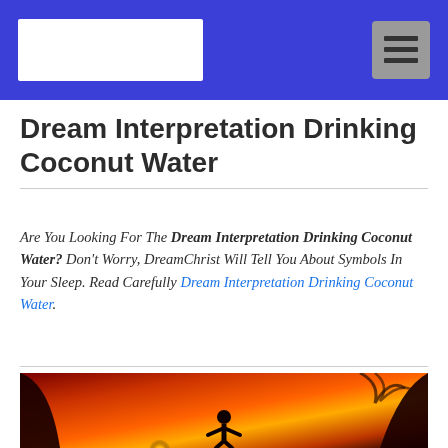[Logo] [Menu button]
Dream Interpretation Drinking Coconut Water
Are You Looking For The Dream Interpretation Drinking Coconut Water? Don't Worry, DreamChrist Will Tell You About Symbols In Your Sleep. Read Carefully Dream Interpretation Drinking Coconut Water.
[Figure (photo): A silhouette of a person with arms outstretched standing in a cave or rocky arch opening, with a dramatic sunset background in warm red, orange, and yellow tones.]